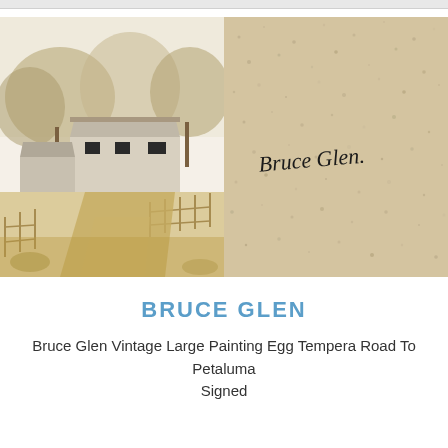[Figure (photo): Two side-by-side photographs: left shows a vintage egg tempera painting of a rural farm scene with barns, dirt road, and trees in warm golden-brown tones; right shows a close-up of the painting's back or surface with a textured beige/tan background and a handwritten signature reading 'Bruce Glen']
BRUCE GLEN
Bruce Glen Vintage Large Painting Egg Tempera Road To Petaluma Signed